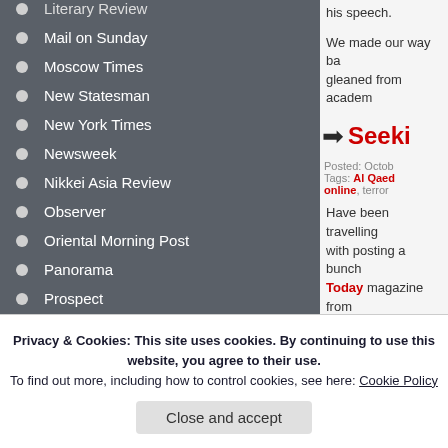Mail on Sunday
Moscow Times
New Statesman
New York Times
Newsweek
Nikkei Asia Review
Observer
Oriental Morning Post
Panorama
Prospect
Quoted
Reuters
Safety and Security International
Sky News
his speech.
We made our way ba gleaned from academ
Seeki
Posted: Octob Tags: Al Qaed online, terror
Have been travelling with posting a bunch Today magazine from
Privacy & Cookies: This site uses cookies. By continuing to use this website, you agree to their use. To find out more, including how to control cookies, see here: Cookie Policy
Close and accept